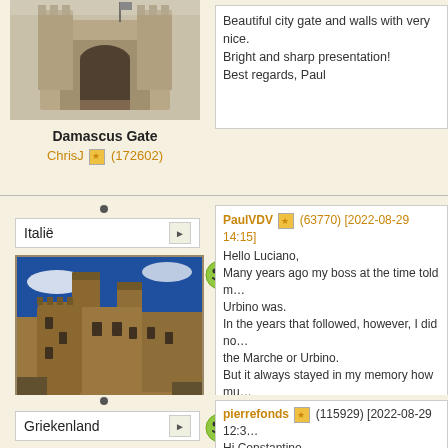[Figure (photo): Thumbnail of Damascus Gate, a stone city gate]
Damascus Gate
ChrisJ (172602)
Beautiful city gate and walls with very nice.
Bright and sharp presentation!
Best regards, Paul
[Figure (photo): Postcard from Urbino - castle/city architecture photo]
Italië
Postcard from Urbino
lousat (140094)
PaulVDV (63770) [2022-08-29 14:15]
Hello Luciano,
Many years ago my boss at the time told m…
Urbino was.
In the years that followed, however, I did no…
the Marche or Urbino.
But it always stayed in my memory how mu…
Urbino.
This photo makes it all clear.
It looks like a city in different levels that are…
Truly impressive buildings.
Moreover, the city seems to be walled. I alw…
special.
It will probably be a lot of climbing in the cit…
Wonderful with the different towers pointing…
Best regards, Paul
Griekenland
pierrefonds (115929) [2022-08-29 12:3…
Hi Constantino,